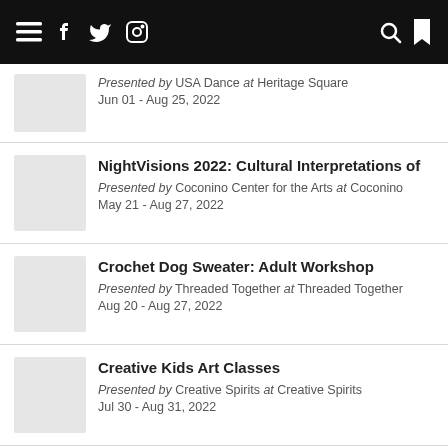Navigation bar with menu, facebook, twitter, instagram, search, and bookmark icons
Presented by USA Dance at Heritage Square
Jun 01 - Aug 25, 2022
NightVisions 2022: Cultural Interpretations of
Presented by Coconino Center for the Arts at Coconino
May 21 - Aug 27, 2022
Crochet Dog Sweater: Adult Workshop
Presented by Threaded Together at Threaded Together
Aug 20 - Aug 27, 2022
Creative Kids Art Classes
Presented by Creative Spirits at Creative Spirits
Jul 30 - Aug 31, 2022
Spirits With The Spirits, Haunted Pub Crawl
Presented by FreakEastTours at FreakEastTours